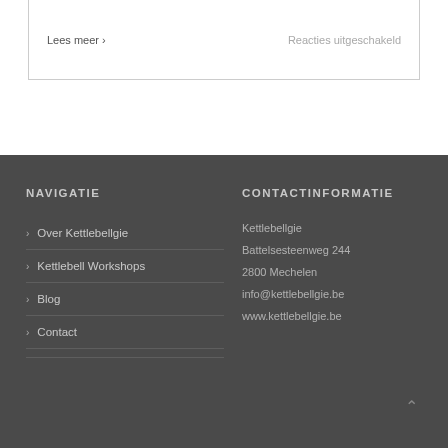Lees meer ›
Reacties uitgeschakeld
NAVIGATIE
CONTACTINFORMATIE
Over Kettlebellgie
Kettlebell Workshops
Blog
Contact
Kettlebellgie
Battelsesteenweg 244
2800 Mechelen
info@kettlebellgie.be
www.kettlebellgie.be